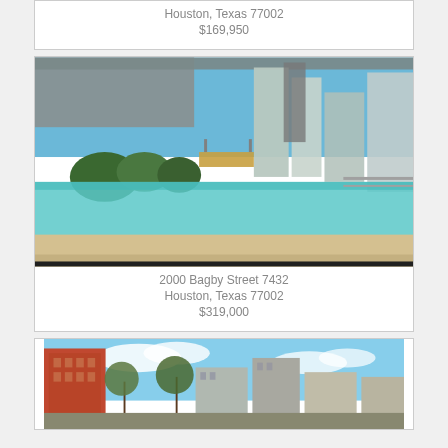Houston, Texas 77002
$169,950
[Figure (photo): Rooftop infinity pool with Houston skyline in background]
2000 Bagby Street 7432
Houston, Texas 77002
$319,000
[Figure (photo): Exterior view of Houston building with city skyline and trees]